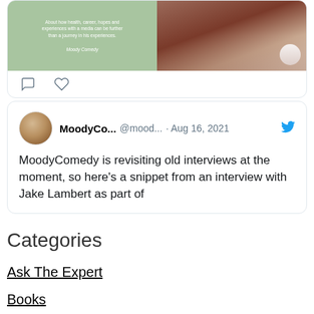[Figure (screenshot): Top portion of a tweet card showing two images side by side: left is a green background with small white text and right is a photo of a person's legs on a patterned rug, with comment and like icons below]
[Figure (screenshot): Tweet card from MoodyComedy (@moodcomedyuk) dated Aug 16, 2021 with Twitter bird icon, stating: MoodyComedy is revisiting old interviews at the moment, so here's a snippet from an interview with Jake Lambert as part of]
Categories
Ask The Expert
Books
Comedian Of The Month
Comedians
Comedy Catch Up